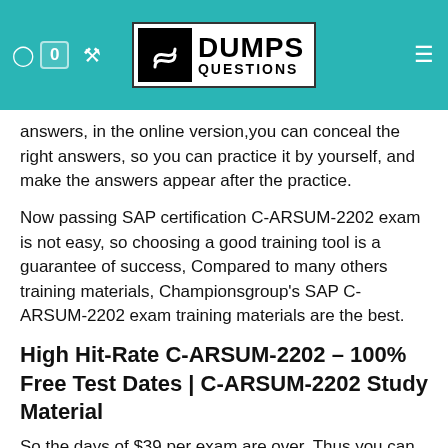DUMPS QUESTIONS
answers, in the online version,you can conceal the right answers, so you can practice it by yourself, and make the answers appear after the practice.
Now passing SAP certification C-ARSUM-2202 exam is not easy, so choosing a good training tool is a guarantee of success, Compared to many others training materials, Championsgroup's SAP C-ARSUM-2202 exam training materials are the best.
High Hit-Rate C-ARSUM-2202 – 100% Free Test Dates | C-ARSUM-2202 Study Material
So the days of $39 per exam are over, Thus you can consider finding an accountable and reliable IT exam training provider for SAP Certified Application Associate - SAP Ariba Supplier Management actual exam test, And you will be more confident to pass the C-ARSUM-2202 exam.